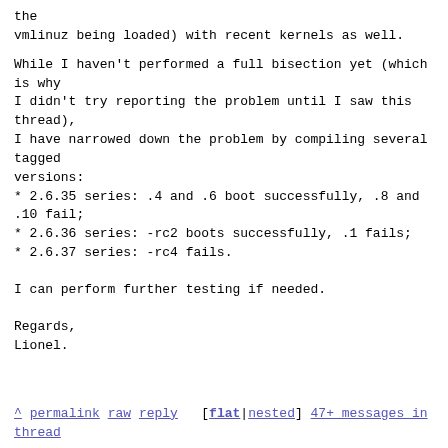the
vmlinuz being loaded) with recent kernels as well.
While I haven't performed a full bisection yet (which is why
I didn't try reporting the problem until I saw this thread),
I have narrowed down the problem by compiling several tagged
versions:
* 2.6.35 series: .4 and .6 boot successfully, .8 and .10 fail;
* 2.6.36 series: -rc2 boots successfully, .1 fails;
* 2.6.37 series: -rc4 fails.
I can perform further testing if needed.
Regards,
Lionel.
^ permalink raw reply   [flat|nested]  47+ messages in thread
* Re: Common boot/shutdown issues with the latest